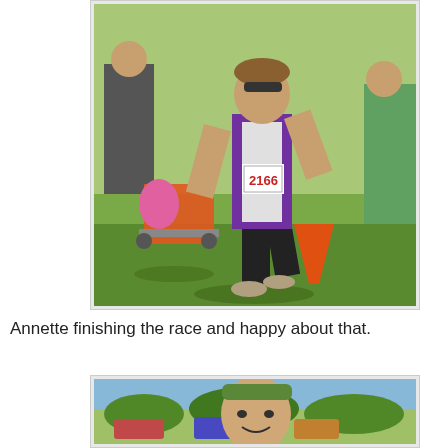[Figure (photo): A woman wearing a purple tank top and black shorts with race bib number 2166, running on a grass field during a race. A stroller with a child in pink is visible in the background, along with other spectators and an orange traffic cone.]
Annette finishing the race and happy about that.
[Figure (photo): Partial view of a person wearing a green headband, appears to be at the same outdoor racing event.]